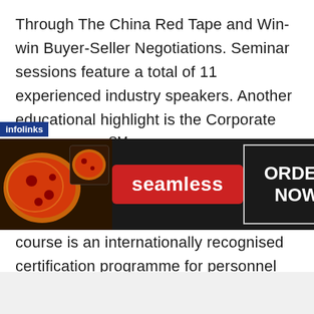Through The China Red Tape and Win-win Buyer-Seller Negotiations. Seminar sessions feature a total of 11 experienced industry speakers. Another educational highlight is the Corporate Travel ExpertSM Designation Course, offered by GBTA and TTG Asia Media for the very first-time in Shanghai at IT&CM China. This 1.5 days starter course is an internationally recognised certification programme for personnel with Corporate Travel responsibilities. Places are limited and the programme is currently being promoted at an introductory offer of 2
[Figure (screenshot): An advertisement banner from Seamless food delivery service, showing pizza images on the left, a red 'seamless' button in the center, and an 'ORDER NOW' button on the right with a close (x) button. An 'infolinks' badge appears at the top left of the ad.]